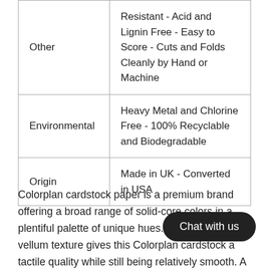| Other | Resistant - Acid and Lignin Free - Easy to Score - Cuts and Folds Cleanly by Hand or Machine |
| Environmental | Heavy Metal and Chlorine Free - 100% Recyclable and Biodegradable |
| Origin | Made in UK - Converted in USA |
Colorplan cardstock paper is a premium brand offering a broad range of solid-core colors in a plentiful palette of unique hues. A subtle antique vellum texture gives this Colorplan cardstock a tactile quality while still being relatively smooth. A premier source fo ock paper, the variety of offerings within t unrivaled and will leave you searching for ways to utilize every beautiful tone!